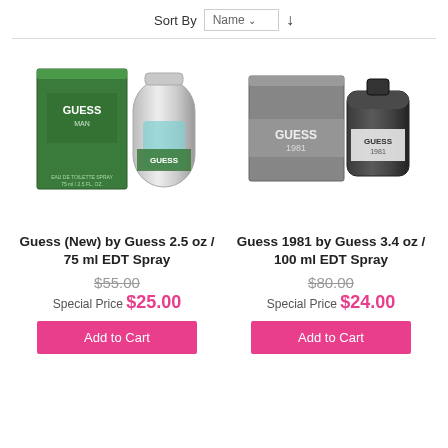Sort By Name ↓
[Figure (photo): Guess Man EDT Spray product with green box and silver bottle]
Guess (New) by Guess 2.5 oz / 75 ml EDT Spray
$55.00 (strikethrough) Special Price $25.00
Add to Cart
[Figure (photo): Guess 1981 EDT Spray product with grey box and dark bottle]
Guess 1981 by Guess 3.4 oz / 100 ml EDT Spray
$80.00 (strikethrough) Special Price $24.00
Add to Cart